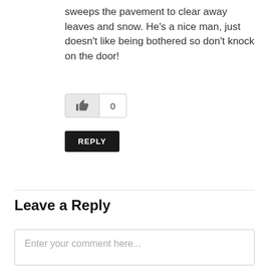sweeps the pavement to clear away leaves and snow. He’s a nice man, just doesn’t like being bothered so don’t knock on the door!
[Figure (other): Like button with thumbs-up icon and count of 0]
REPLY
Leave a Reply
Enter your comment here...